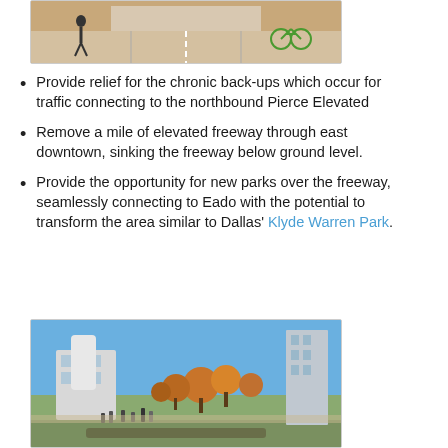[Figure (photo): Aerial or street-level rendering of a road/freeway with cyclists and pedestrians]
Provide relief for the chronic back-ups which occur for traffic connecting to the northbound Pierce Elevated
Remove a mile of elevated freeway through east downtown, sinking the freeway below ground level.
Provide the opportunity for new parks over the freeway, seamlessly connecting to Eado with the potential to transform the area similar to Dallas' Klyde Warren Park.
[Figure (photo): Photograph of Klyde Warren Park in Dallas showing a park with people, trees, buildings in background, and a clear blue sky]